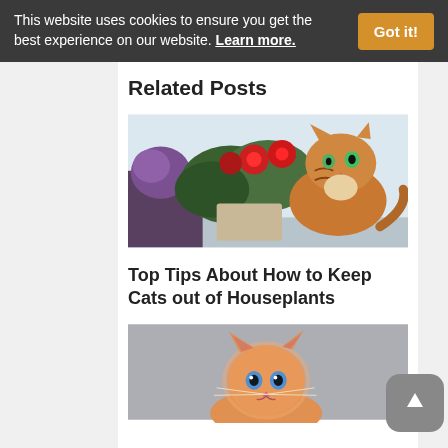This website uses cookies to ensure you get the best experience on our website. Learn more. Got it!
Related Posts
[Figure (photo): A tabby cat sitting on a windowsill next to potted flowering plants with purple and red flowers]
Top Tips About How to Keep Cats out of Houseplants
[Figure (photo): A fluffy orange/ginger kitten looking at the camera with blue eyes against a blurred grey background]